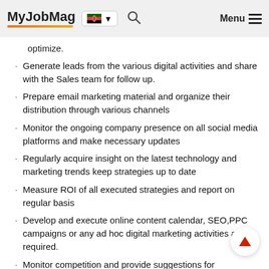MyJobMag [Kenya flag] Menu
optimize.
Generate leads from the various digital activities and share with the Sales team for follow up.
Prepare email marketing material and organize their distribution through various channels
Monitor the ongoing company presence on all social media platforms and make necessary updates
Regularly acquire insight on the latest technology and marketing trends keep strategies up to date
Measure ROI of all executed strategies and report on regular basis
Develop and execute online content calendar, SEO,PPC campaigns or any ad hoc digital marketing activities as required.
Monitor competition and provide suggestions for improvement.